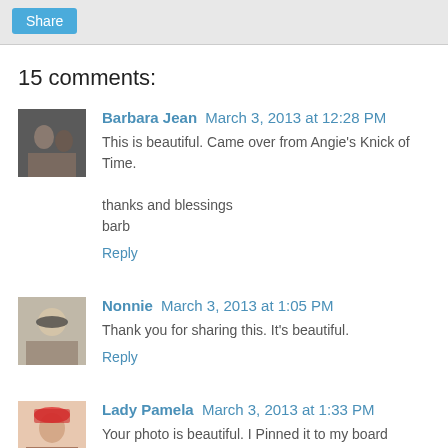Share
15 comments:
Barbara Jean March 3, 2013 at 12:28 PM
This is beautiful. Came over from Angie's Knick of Time.

thanks and blessings
barb
Reply
Nonnie March 3, 2013 at 1:05 PM
Thank you for sharing this. It's beautiful.
Reply
Lady Pamela March 3, 2013 at 1:33 PM
Your photo is beautiful. I Pinned it to my board Blessings.